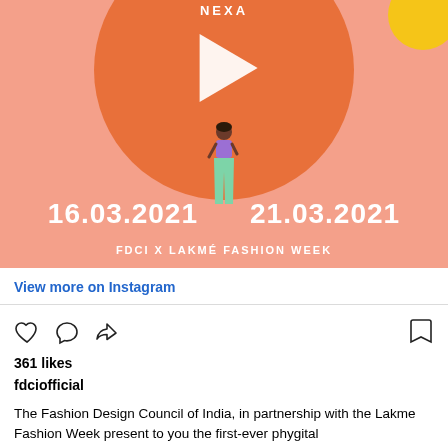[Figure (illustration): Instagram post image with salmon/peach background, large orange circle with play button triangle, NEXA text at top, illustrated fashion figure of a woman in purple top and mint green pants, dates 16.03.2021 and 21.03.2021 in bold white text, and 'FDCI X LAKMÉ FASHION WEEK' subtitle, yellow circle accent top right]
View more on Instagram
[Figure (other): Instagram action icons: heart (like), speech bubble (comment), share arrow, and bookmark icon]
361 likes
fdciofficial
The Fashion Design Council of India, in partnership with the Lakme Fashion Week present to you the first-ever phygital